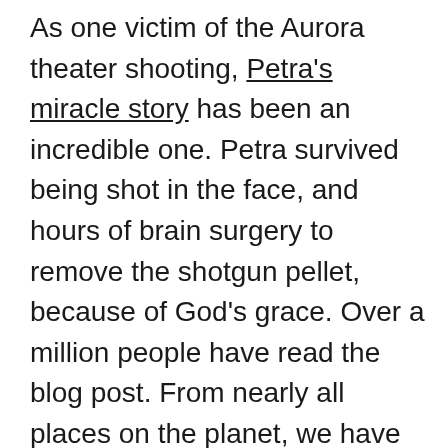As one victim of the Aurora theater shooting, Petra's miracle story has been an incredible one. Petra survived being shot in the face, and hours of brain surgery to remove the shotgun pellet, because of God's grace. Over a million people have read the blog post. From nearly all places on the planet, we have received kind notes and encouragements. Most importantly, people have been praying for Petra and all the victims of the shooting. Please continue beseeching the Heavenly Father to bring more and more good from this evil night, and to help heal those families who suffered great loss. As Christians, we do